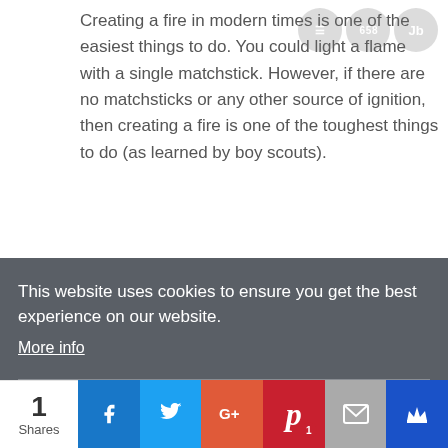Creating a fire in modern times is one of the easiest things to do. You could light a flame with a single matchstick. However, if there are no matchsticks or any other source of ignition, then creating a fire is one of the toughest things to do (as learned by boy scouts).
This website uses cookies to ensure you get the best experience on our website.
More info
Got it!
1 Shares